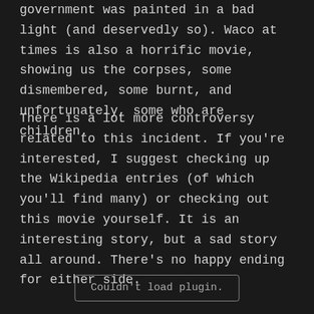government was painted in a bad light (and deservedly so). Waco at times is also a horrific movie, showing us the corpses, some dismembered, some burnt, and unfortunately, some who are children.
There is a lot more controversy related to this incident. If you're interested, I suggest checking up the Wikipedia entries (of which you'll find many) or checking out this movie yourself. It is an interesting story, but a sad story all around. There's no happy ending for either side.
Couldn't load plugin.